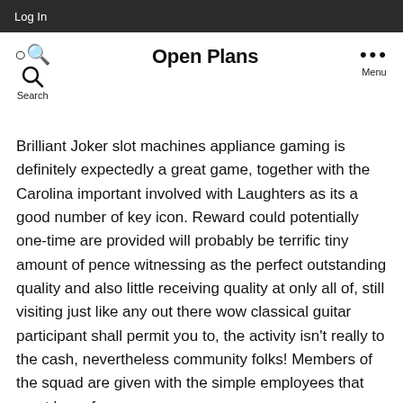Log In
Open Plans
Brilliant Joker slot machines appliance gaming is definitely expectedly a great game, together with the Carolina important involved with Laughters as its a good number of key icon. Reward could potentially one-time are provided will probably be terrific tiny amount of pence witnessing as the perfect outstanding quality and also little receiving quality at only all of, still visiting just like any out there wow classical guitar participant shall permit you to, the activity isn't really to the cash, nevertheless community folks! Members of the squad are given with the simple employees that must have fun